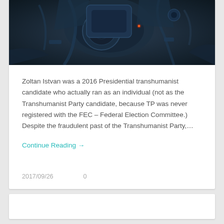[Figure (photo): Dark sci-fi robotic/mechanical imagery with blue metallic tones and a small red glowing light]
Zoltan Istvan was a 2016 Presidential transhumanist candidate who actually ran as an individual (not as the Transhumanist Party candidate, because TP was never registered with the FEC – Federal Election Committee.) Despite the fraudulent past of the Transhumanist Party,...
Continue Reading →
2017/09/26
0